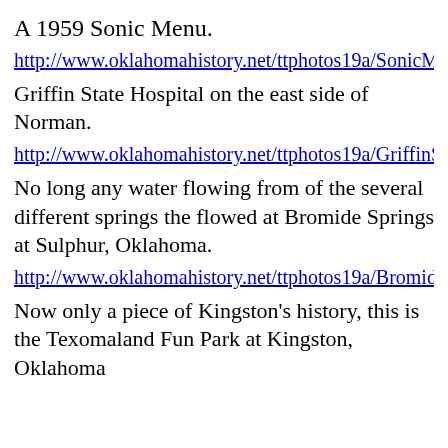A 1959 Sonic Menu.
http://www.oklahomahistory.net/ttphotos19a/SonicMenu...
Griffin State Hospital on the east side of Norman.
http://www.oklahomahistory.net/ttphotos19a/GriffinSta...
No long any water flowing from of the several different springs the flowed at Bromide Springs at Sulphur, Oklahoma.
http://www.oklahomahistory.net/ttphotos19a/BromideS...
Now only a piece of Kingston's history, this is the Texomaland Fun Park at Kingston, Oklahoma